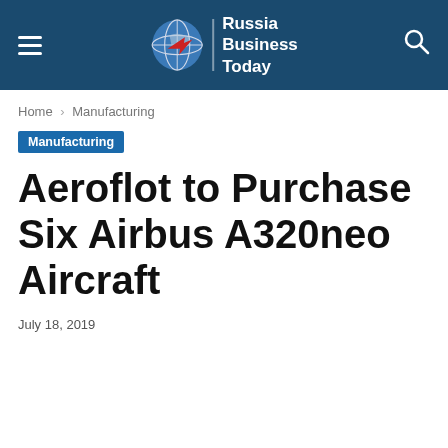Russia Business Today
Home › Manufacturing
Manufacturing
Aeroflot to Purchase Six Airbus A320neo Aircraft
July 18, 2019